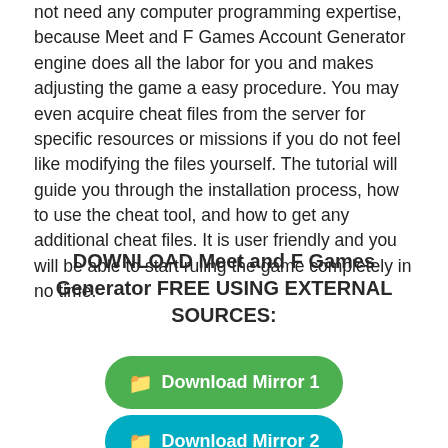not need any computer programming expertise, because Meet and F Games Account Generator engine does all the labor for you and makes adjusting the game a easy procedure. You may even acquire cheat files from the server for specific resources or missions if you do not feel like modifying the files yourself. The tutorial will guide you through the installation process, how to use the cheat tool, and how to get any additional cheat files. It is user friendly and you will be able to start ruling the game completely in no time.
DOWNLOAD Meet and F Games Generator FREE USING EXTERNAL SOURCES:
[Figure (other): Green rounded button labeled 'Download Mirror 1' with a folder icon]
[Figure (other): Teal rounded button labeled 'Download Mirror 2' with a folder icon]